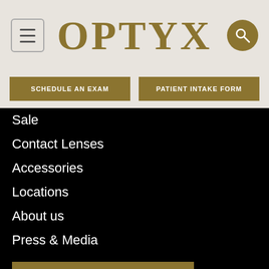[Figure (logo): OPTYX logo in gold serif font with hamburger menu icon on left and search icon on right, on a beige/tan background]
SCHEDULE AN EXAM
PATIENT INTAKE FORM
Sale
Contact Lenses
Accessories
Locations
About us
Press & Media
SCHEDULE AN EXAM
PATIENT INTAKE FORM